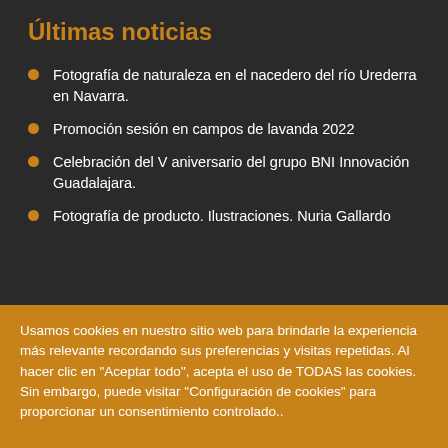Últimas noticias
Fotografía de naturaleza en el nacedero del río Urederra en Navarra.
Promoción sesión en campos de lavanda 2022
Celebración del V aniversario del grupo BNI Innovación Guadalajara.
Fotografía de producto. Ilustraciones. Nuria Gallardo
Usamos cookies en nuestro sitio web para brindarle la experiencia más relevante recordando sus preferencias y visitas repetidas. Al hacer clic en "Aceptar todo", acepta el uso de TODAS las cookies. Sin embargo, puede visitar "Configuración de cookies" para proporcionar un consentimiento controlado..